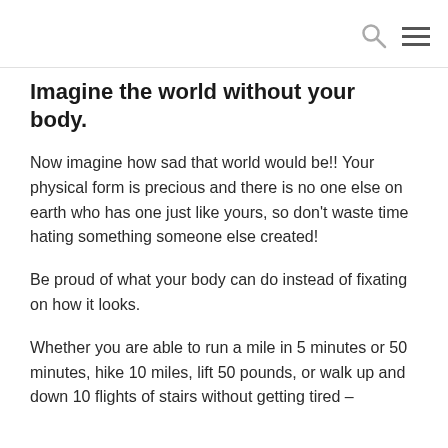Imagine the world without your body.
Now imagine how sad that world would be!! Your physical form is precious and there is no one else on earth who has one just like yours, so don't waste time hating something someone else created!
Be proud of what your body can do instead of fixating on how it looks.
Whether you are able to run a mile in 5 minutes or 50 minutes, hike 10 miles, lift 50 pounds, or walk up and down 10 flights of stairs without getting tired –